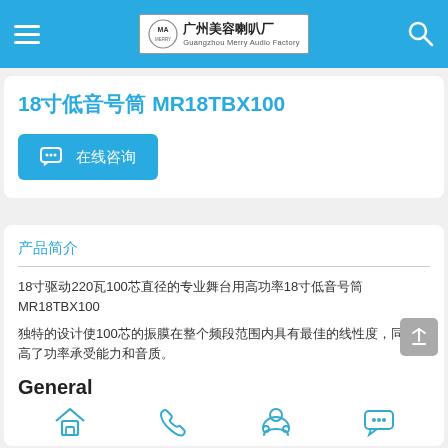广州美容喇叭厂 Guangzhou Merry Audio Factory
18寸低音号筒 MR18TBX100
在线咨询
产品简介
18寸驱动220瓦100芯直径的专业舞台用高功率18寸低音号筒 MR18TBX100
独特的设计使100芯的振膜在整个频段范围内具有最佳的线性度,同时提高了功率承受能力和音质。
出色的音乐再现能力,持续、清晰、动态的低频表现。
General
[Figure (illustration): Bottom navigation icons: home, phone, customer service, message]